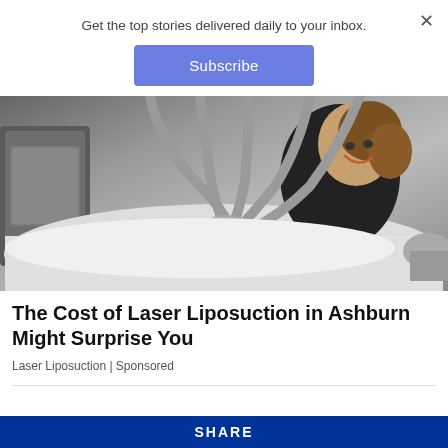Get the top stories delivered daily to your inbox.
[Figure (other): Subscribe button widget — blue rounded rectangle with white text 'Subscribe']
[Figure (photo): A woman lying on a medical/aesthetic treatment table smiling, with multiple liposuction device hoses/applicators attached to her abdomen. Medical equipment visible in background.]
The Cost of Laser Liposuction in Ashburn Might Surprise You
Laser Liposuction | Sponsored
SHARE